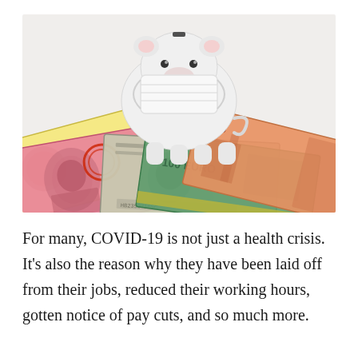[Figure (photo): A white ceramic piggy bank wearing a surgical face mask, sitting on top of a spread of international currency banknotes including Chinese yuan (pink), US dollar (green/grey), Euro (green), and Russian ruble (orange/red), on a white background.]
For many, COVID-19 is not just a health crisis. It's also the reason why they have been laid off from their jobs, reduced their working hours, gotten notice of pay cuts, and so much more.